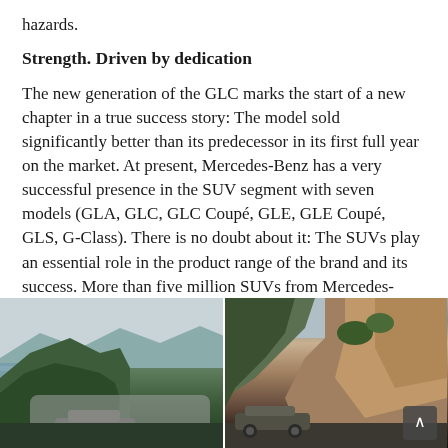hazards.
Strength. Driven by dedication
The new generation of the GLC marks the start of a new chapter in a true success story: The model sold significantly better than its predecessor in its first full year on the market. At present, Mercedes-Benz has a very successful presence in the SUV segment with seven models (GLA, GLC, GLC Coupé, GLE, GLE Coupé, GLS, G-Class). There is no doubt about it: The SUVs play an essential role in the product range of the brand and its success. More than five million SUVs from Mercedes-Benz were delivered to customers worldwide to date.
[Figure (photo): Two side-by-side photos of Mercedes-Benz SUV vehicles driving on mountain roads with rocky cliffs and water/landscape in the background.]